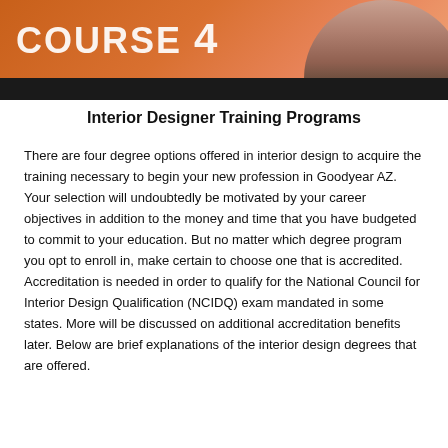[Figure (photo): Banner image with orange/brown gradient background, large bold white uppercase text 'COURSE' and a woman's partial face/hand on the right side, with a black bar below]
Interior Designer Training Programs
There are four degree options offered in interior design to acquire the training necessary to begin your new profession in Goodyear AZ. Your selection will undoubtedly be motivated by your career objectives in addition to the money and time that you have budgeted to commit to your education. But no matter which degree program you opt to enroll in, make certain to choose one that is accredited. Accreditation is needed in order to qualify for the National Council for Interior Design Qualification (NCIDQ) exam mandated in some states. More will be discussed on additional accreditation benefits later. Below are brief explanations of the interior design degrees that are offered.